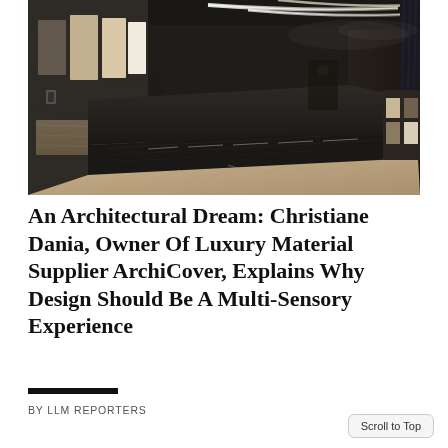[Figure (photo): Interior of a luxury architectural materials showroom with dark wood counters, material sample panels on walls, chevron wood flooring, curved ceiling lights, and a long display counter running down the center.]
An Architectural Dream: Christiane Dania, Owner Of Luxury Material Supplier ArchiCover, Explains Why Design Should Be A Multi-Sensory Experience
BY LLM REPORTERS